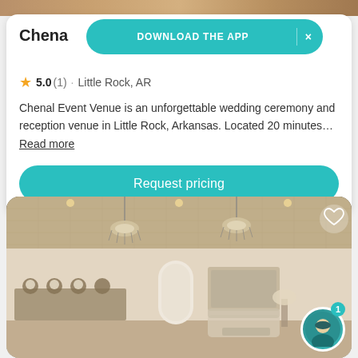[Figure (screenshot): Top strip of a venue photo partially visible at the top of the screen]
Chenal
[Figure (infographic): Teal pill-shaped banner overlay reading DOWNLOAD THE APP with an X close button]
5.0 (1) · Little Rock, AR
Chenal Event Venue is an unforgettable wedding ceremony and reception venue in Little Rock, Arkansas. Located 20 minutes… Read more
Request pricing
[Figure (photo): Interior photo of Chenal Event Venue showing an elegant reception space with ornate ceiling tiles, two crystal chandeliers, bar-height tables with stools on the left, a seating area with sofa on the right, and floral arrangements.]